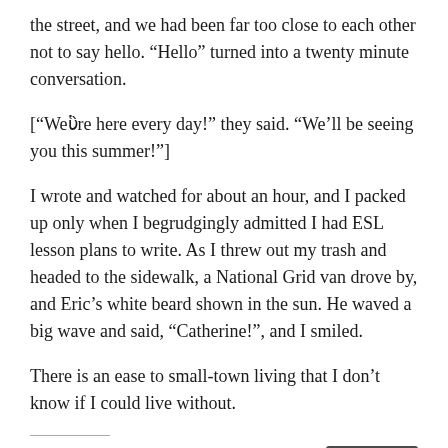the street, and we had been far too close to each other not to say hello. “Hello” turned into a twenty minute conversation.
[“We’re here every day!” they said. “We’ll be seeing you this summer!”]
I wrote and watched for about an hour, and I packed up only when I begrudgingly admitted I had ESL lesson plans to write. As I threw out my trash and headed to the sidewalk, a National Grid van drove by, and Eric’s white beard shown in the sun. He waved a big wave and said, “Catherine!”, and I smiled.
There is an ease to small-town living that I don’t know if I could live without.
Share: Follow